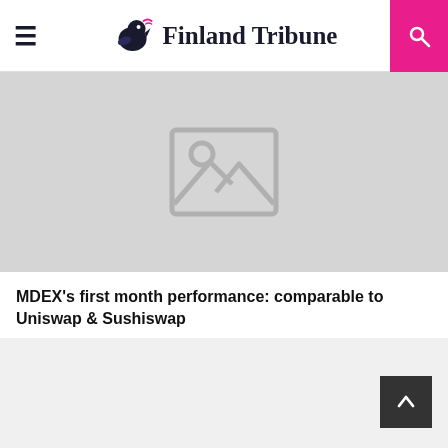Finland Tribune
[Figure (photo): Placeholder image with grey background and image icon (mountain/sun silhouette)]
MDEX’s first month performance: comparable to Uniswap & Sushiswap